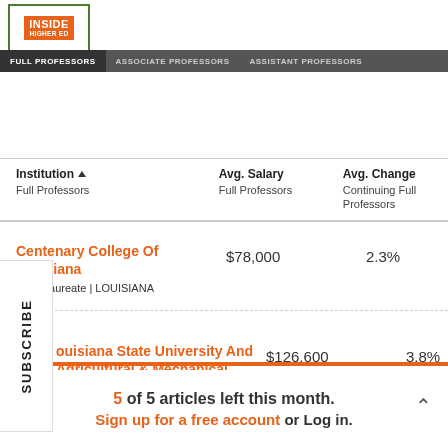[Figure (logo): Inside Higher Ed logo with green border and orange background]
FULL PROFESSORS  ASSOCIATE PROFESSORS  ASSISTANT PROFESSORS  CAREERS
| Institution
Full Professors | Avg. Salary
Full Professors | Avg. Change
Continuing Full Professors |
| --- | --- | --- |
| Centenary College Of Louisiana
Baccalaureate | LOUISIANA | $78,000 | 2.3% |
| Louisiana State University And Agricultural & Mechanical College
Doctoral | LOUISIANA | $126,600 | 3.8% |
5 of 5 articles left this month.
Sign up for a free account or Log in.